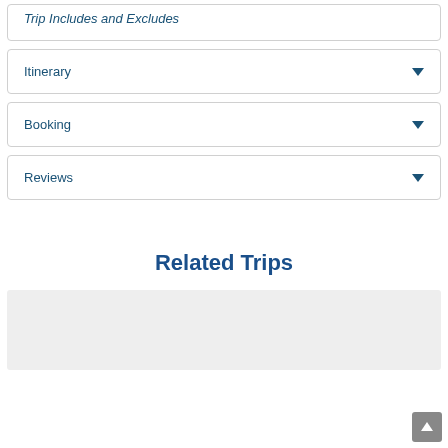Trip Includes and Excludes
Itinerary
Booking
Reviews
Related Trips
[Figure (other): Gray placeholder image for related trips section]